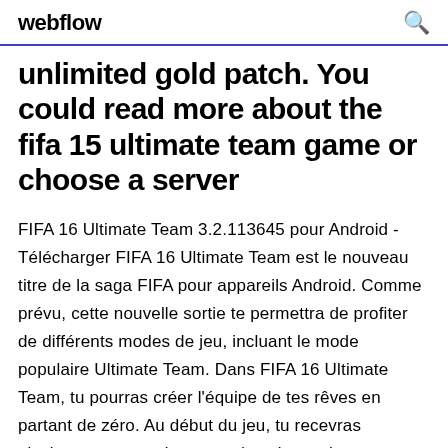webflow
unlimited gold patch. You could read more about the fifa 15 ultimate team game or choose a server
FIFA 16 Ultimate Team 3.2.113645 pour Android - Télécharger FIFA 16 Ultimate Team est le nouveau titre de la saga FIFA pour appareils Android. Comme prévu, cette nouvelle sortie te permettra de profiter de différents modes de jeu, incluant le mode populaire Ultimate Team. Dans FIFA 16 Ultimate Team, tu pourras créer l'équipe de tes rêves en partant de zéro. Au début du jeu, tu recevras plusieurs paquets de cartes dans lesquels tu trouveras des FIFA